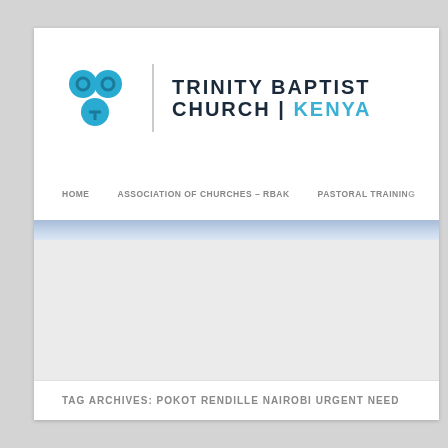[Figure (logo): Trinity Baptist Church Kenya logo with teal circles icon and church name text]
HOME    ASSOCIATION OF CHURCHES – RBAK    PASTORAL TRAINING
TAG ARCHIVES: POKOT RENDILLE NAIROBI URGENT NEED